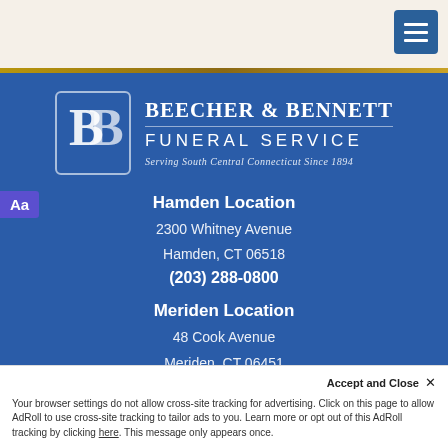Beecher & Bennett Funeral Service - navigation header with hamburger menu
[Figure (logo): Beecher & Bennett Funeral Service logo with BB monogram in bordered box, company name and tagline 'Serving South Central Connecticut Since 1894']
Hamden Location
2300 Whitney Avenue
Hamden, CT 06518
(203) 288-0800
Meriden Location
48 Cook Avenue
Meriden, CT 06451
(203) 235-6157
Accept and Close ×
Your browser settings do not allow cross-site tracking for advertising. Click on this page to allow AdRoll to use cross-site tracking to tailor ads to you. Learn more or opt out of this AdRoll tracking by clicking here. This message only appears once.